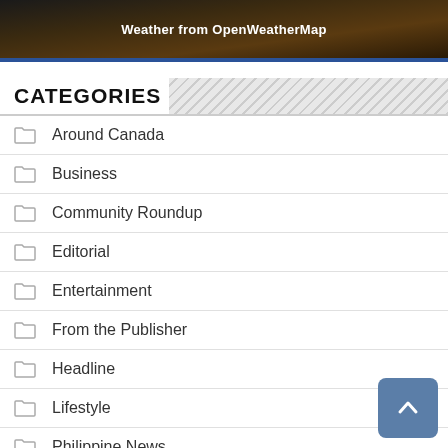[Figure (photo): Dark banner with warm orange/brown tones and text 'Weather from OpenWeatherMap' in white bold text]
CATEGORIES
Around Canada
Business
Community Roundup
Editorial
Entertainment
From the Publisher
Headline
Lifestyle
Philippine News
Sportscope
Tech News